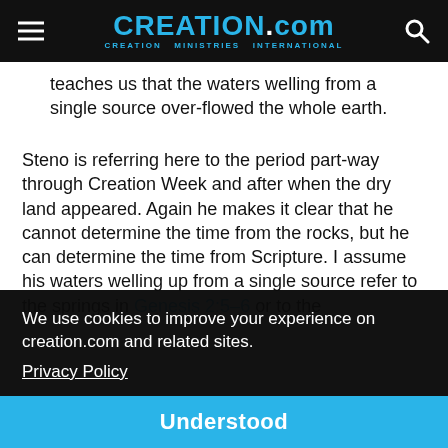CREATION.com — CREATION MINISTRIES INTERNATIONAL
teaches us that the waters welling from a single source over-flowed the whole earth.
Steno is referring here to the period part-way through Creation Week and after when the dry land appeared. Again he makes it clear that he cannot determine the time from the rocks, but he can determine the time from Scripture. I assume his waters welling up from a single source refer to the springs in Genesis 2:5–6 or to the
We use cookies to improve your experience on creation.com and related sites.
Privacy Policy
Understood